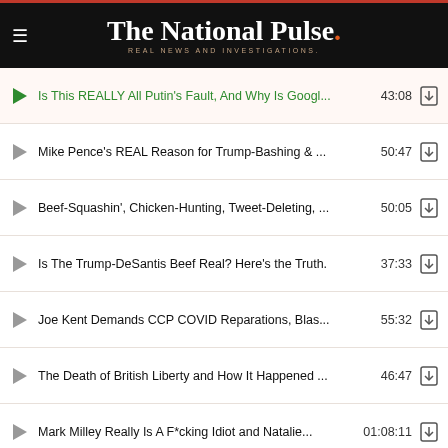The National Pulse. REAL NEWS AND INVESTIGATIONS.
Is This REALLY All Putin's Fault, And Why Is Googl... 43:08
Mike Pence's REAL Reason for Trump-Bashing & ... 50:47
Beef-Squashin', Chicken-Hunting, Tweet-Deleting, ... 50:05
Is The Trump-DeSantis Beef Real? Here's the Truth. 37:33
Joe Kent Demands CCP COVID Reparations, Blas... 55:32
The Death of British Liberty and How It Happened ... 46:47
Mark Milley Really Is A F*cking Idiot and Natalie... 01:08:11
Getting Your Smell/Taste Back After COVID (The K... 23:26
Knowing Bannon (One of His Longest-Serving Coll... 51:47
The FBI & Jan... 51:47
[Figure (screenshot): Notification popup showing 'The IRS Already Spent Over $20 Million On' with police image and '1 day ago' timestamp]